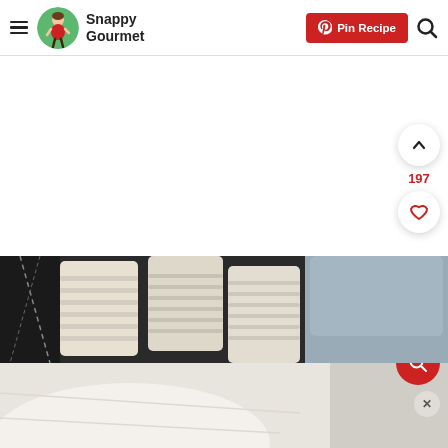Snappy Gourmet — Pin Recipe
[Figure (photo): Food photo showing white/cream colored popsicles or frozen bars with ridged rectangles and a dark background with sticks]
[Figure (photo): Bottom portion showing white cream or frozen dessert surface close-up]